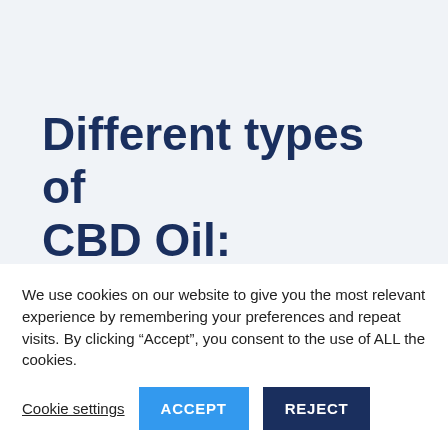Different types of CBD Oil:
CBD Gummies
We use cookies on our website to give you the most relevant experience by remembering your preferences and repeat visits. By clicking “Accept”, you consent to the use of ALL the cookies.
Cookie settings | ACCEPT | REJECT